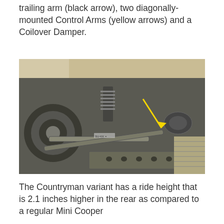trailing arm (black arrow), two diagonally-mounted Control Arms (yellow arrows) and a Coilover Damper.
[Figure (photo): Underside view of a Mini Cooper Countryman rear suspension assembly showing suspension arms and coilover damper with a yellow arrow pointing to a component]
The Countryman variant has a ride height that is 2.1 inches higher in the rear as compared to a regular Mini Cooper